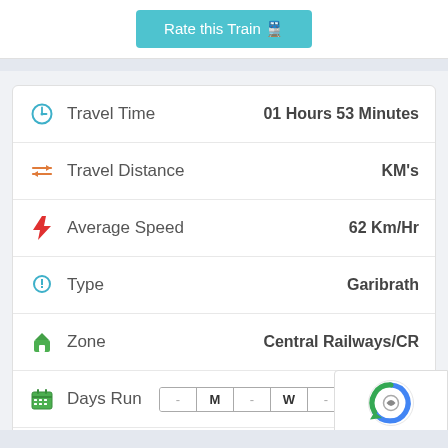Rate this Train
| Field | Value |
| --- | --- |
| Travel Time | 01 Hours 53 Minutes |
| Travel Distance | KM's |
| Average Speed | 62 Km/Hr |
| Type | Garibrath |
| Zone | Central Railways/CR |
| Days Run | - M - W - - S |
| Stoppages | 11 |